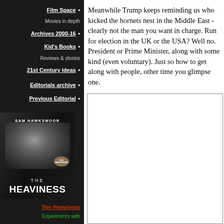Film Space • Movies in depth
Archives 2000-16 •
Kid's Books • Reviews & stories
21st Century ideas •
Editorials archive •
Previous Editorial •
[Figure (illustration): Book cover for 'The Heaviness' by Sam Hawksmoor showing a young woman's face in dark tones]
The Heaviness
Experiments with
Meanwhile Trump keeps reminding us who kicked the hornets nest in the Middle East - clearly not the man you want in charge. Run for election in the UK or the USA? Well no. President or Prime Minister, along with some kind (even voluntary). Just so how to get along with people, other time you glimpse one.